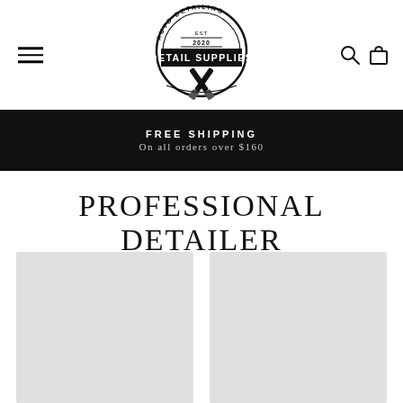[Figure (logo): Detail Supplies auto detailing logo, EST 2020, circular badge with crossed brushes]
FREE SHIPPING
On all orders over $160
PROFESSIONAL DETAILER
[Figure (photo): Product image placeholder 1 (gray rectangle)]
[Figure (photo): Product image placeholder 2 (gray rectangle)]